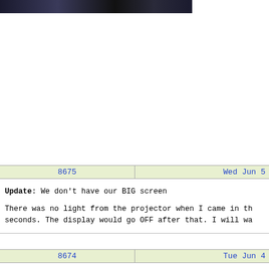[Figure (photo): Dark photograph of a room with people and equipment, partially visible at top of page]
| 8675 | Wed Jun 5 |
| --- | --- |
Update: We don't have our BIG screen

There was no light from the projector when I came in th seconds. The display would go OFF after that. I will wa
| 8674 | Tue Jun 4 |
| --- | --- |
[Annalisa, Gautam]

The green beam alignment has been improved, so we see

A mirror is already in place to steer the rejected beam